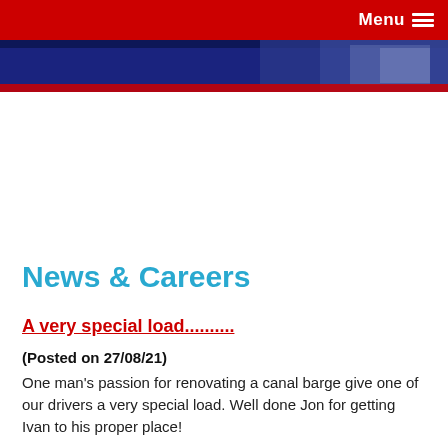Menu
[Figure (photo): Partial hero banner image showing vehicles or transport equipment, with dark blue and red tones at the top of the page]
News & Careers
A very special load..........
(Posted on 27/08/21)
One man's passion for renovating a canal barge give one of our drivers a very special load. Well done Jon for getting Ivan to his proper place!